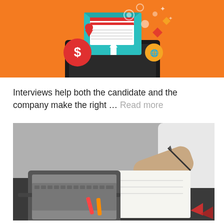[Figure (illustration): Orange background illustration with a laptop, envelope, dollar sign, arrow, and floating icons representing email/job application/digital marketing concept]
Interviews help both the candidate and the company make the right … Read more
[Figure (photo): Person in white shirt writing notes next to a laptop with red markers on a dark desk]